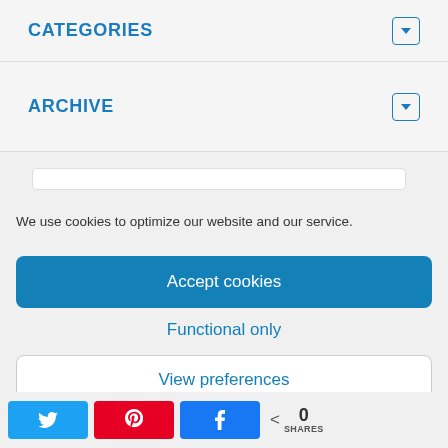CATEGORIES
ARCHIVE
We use cookies to optimize our website and our service.
Accept cookies
Functional only
View preferences
0 SHARES